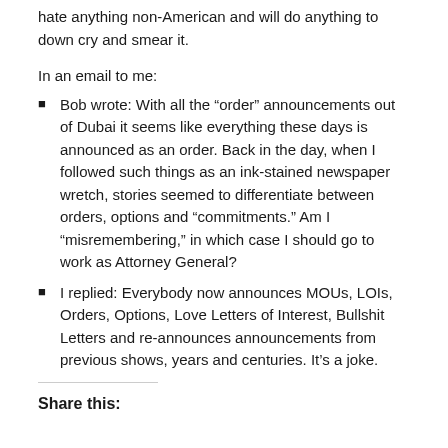hate anything non-American and will do anything to down cry and smear it.
In an email to me:
Bob wrote: With all the “order” announcements out of Dubai it seems like everything these days is announced as an order. Back in the day, when I followed such things as an ink-stained newspaper wretch, stories seemed to differentiate between orders, options and “commitments.” Am I “misremembering,” in which case I should go to work as Attorney General?
I replied: Everybody now announces MOUs, LOIs, Orders, Options, Love Letters of Interest, Bullshit Letters and re-announces announcements from previous shows, years and centuries. It’s a joke.
Share this: